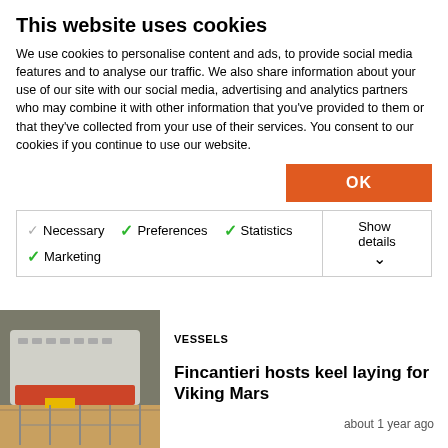This website uses cookies
We use cookies to personalise content and ads, to provide social media features and to analyse our traffic. We also share information about your use of our site with our social media, advertising and analytics partners who may combine it with other information that you've provided to them or that they've collected from your use of their services. You consent to our cookies if you continue to use our website.
OK
Necessary  Preferences  Statistics  Show details  Marketing
VESSELS
Fincantieri hosts keel laying for Viking Mars
about 1 year ago
[Figure (photo): Photo of a ship hull under construction in a shipyard]
BUSINESS & FINANCE
TechnipFMC split to take place this month
about 1 year ago
[Figure (photo): Photo of a yellow TechnipFMC hard hat]